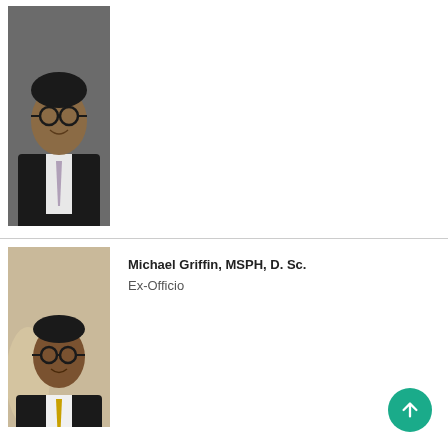[Figure (photo): Professional headshot of a man wearing glasses, a dark suit and light patterned tie, smiling]
[Figure (photo): Professional headshot of Michael Griffin wearing glasses and a dark suit with a gold tie]
Michael Griffin, MSPH, D. Sc.
Ex-Officio